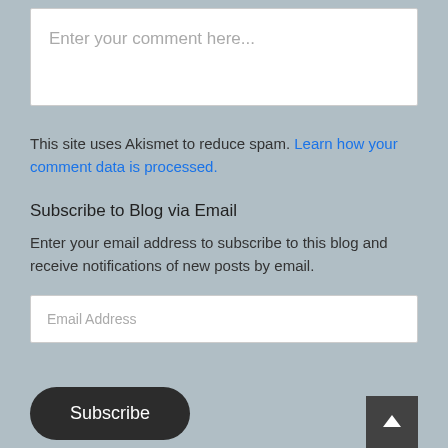Enter your comment here...
This site uses Akismet to reduce spam. Learn how your comment data is processed.
Subscribe to Blog via Email
Enter your email address to subscribe to this blog and receive notifications of new posts by email.
Email Address
Subscribe